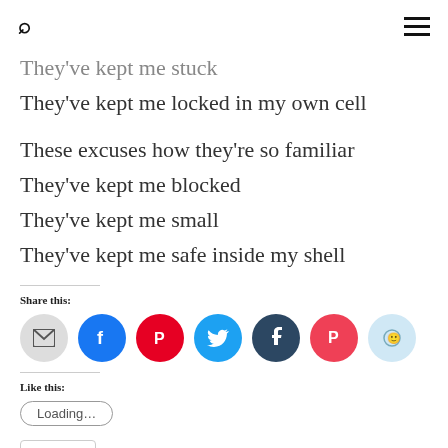Search | Menu
They've kept me stuck
They've kept me locked in my own cell
These excuses how they're so familiar
They've kept me blocked
They've kept me small
They've kept me safe inside my shell
Share this:
[Figure (other): Row of social share buttons: email (grey), Facebook (blue), Pinterest (red), Twitter (cyan), Tumblr (dark blue), Pocket (red), Reddit (light blue)]
Like this:
[Figure (other): Loading... button (oval outline)]
[Figure (other): Like button with blue star icon]